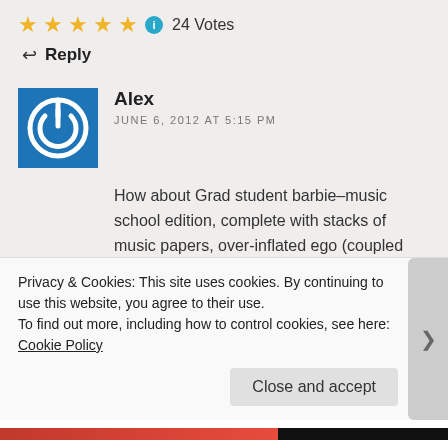[Figure (other): Five gold star rating icons followed by a blue info icon and '24 Votes' text]
↩ Reply
[Figure (other): Blue square avatar with white power button icon for user Alex]
Alex
JUNE 6, 2012 AT 5:15 PM
How about Grad student barbie–music school edition, complete with stacks of music papers, over-inflated ego (coupled with zero self-esteem), and a medicine cabinet stocked with anti-depressants, beta-blockers, and lots of
Privacy & Cookies: This site uses cookies. By continuing to use this website, you agree to their use.
To find out more, including how to control cookies, see here: Cookie Policy
Close and accept